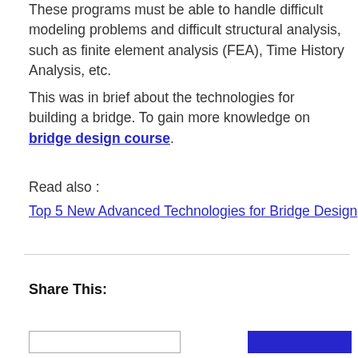These programs must be able to handle difficult modeling problems and difficult structural analysis, such as finite element analysis (FEA), Time History Analysis, etc.
This was in brief about the technologies for building a bridge. To gain more knowledge on bridge design course.
Read also :
Top 5 New Advanced Technologies for Bridge Design
Share This: